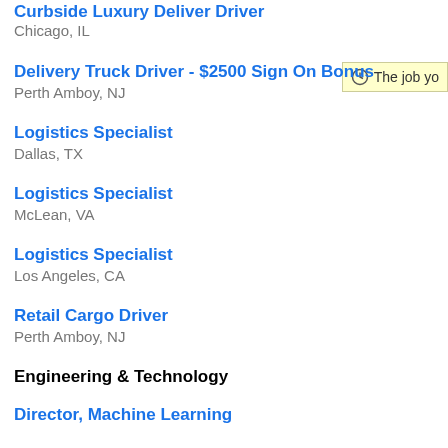Curbside Luxury Deliver Driver (partial/cut off at top)
Chicago, IL
Delivery Truck Driver - $2500 Sign On Bonus
Perth Amboy, NJ
Logistics Specialist
Dallas, TX
Logistics Specialist
McLean, VA
Logistics Specialist
Los Angeles, CA
Retail Cargo Driver
Perth Amboy, NJ
Engineering & Technology
Director, Machine Learning